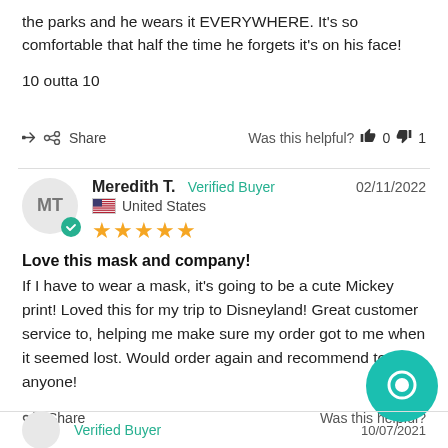the parks and he wears it EVERYWHERE. It's so comfortable that half the time he forgets it's on his face!
10 outta 10
Share   Was this helpful?  👍 0  👎 1
Meredith T.  Verified Buyer  02/11/2022  United States  ★★★★★
Love this mask and company!
If I have to wear a mask, it's going to be a cute Mickey print! Loved this for my trip to Disneyland! Great customer service to, helping me make sure my order got to me when it seemed lost. Would order again and recommend to anyone!
Share   Was this helpful?